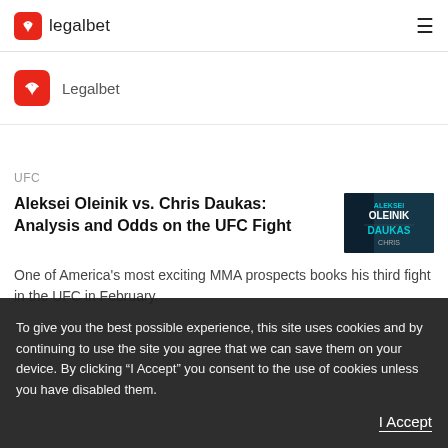legalbet
Legalbet
UFC
Aleksei Oleinik vs. Chris Daukas: Analysis and Odds on the UFC Fight
[Figure (photo): Fight promo image showing Aleksei Oleinik vs Chris Daukas matchup with teal/dark background]
One of America's most exciting MMA prospects books his third fight in the UFC in February.
To give you the best possible experience, this site uses cookies and by continuing to use the site you agree that we can save them on your device. By clicking “I Accept” you consent to the use of cookies unless you have disabled them.
I Accept